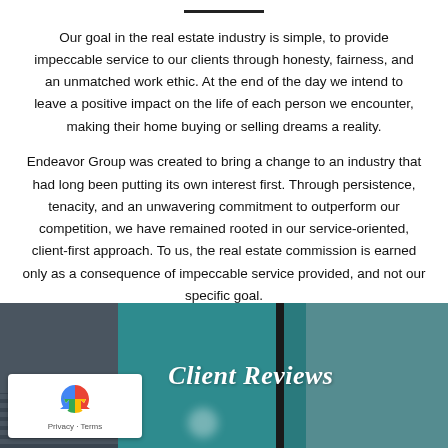Our goal in the real estate industry is simple, to provide impeccable service to our clients through honesty, fairness, and an unmatched work ethic. At the end of the day we intend to leave a positive impact on the life of each person we encounter, making their home buying or selling dreams a reality.
Endeavor Group was created to bring a change to an industry that had long been putting its own interest first. Through persistence, tenacity, and an unwavering commitment to outperform our competition, we have remained rooted in our service-oriented, client-first approach. To us, the real estate commission is earned only as a consequence of impeccable service provided, and not our specific goal.
Client Reviews
[Figure (logo): Google reCAPTCHA badge with Privacy and Terms links]